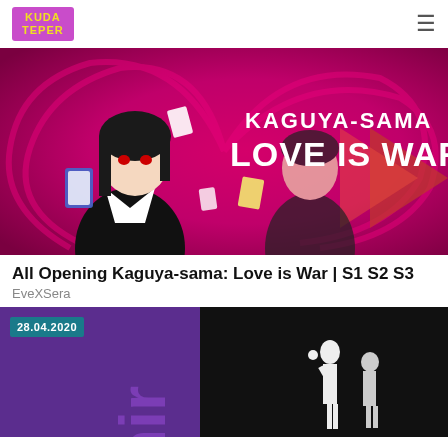KUDA TEPER
[Figure (illustration): Kaguya-sama: Love is War anime promotional image with two characters and pink swirl background with text 'KAGUYA-SAMA LOVE IS WAR']
All Opening Kaguya-sama: Love is War | S1 S2 S3
EveXSera
[Figure (screenshot): Second article thumbnail with date badge '28.04.2020', purple left panel with 'unir' text, and dark right panel with anime figure silhouettes]